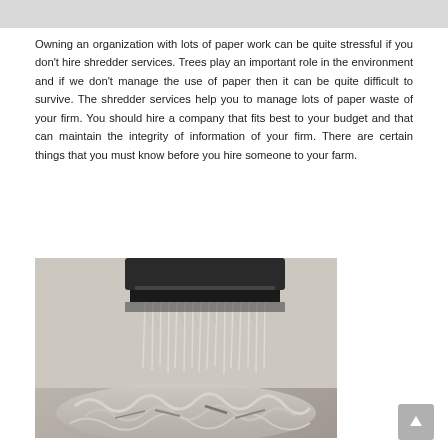Owning an organization with lots of paper work can be quite stressful if you don't hire shredder services. Trees play an important role in the environment and if we don't manage the use of paper then it can be quite difficult to survive. The shredder services help you to manage lots of paper waste of your firm. You should hire a company that fits best to your budget and that can maintain the integrity of information of your firm. There are certain things that you must know before you hire someone to your farm.
[Figure (photo): Black and white photograph of a paper shredder actively shredding paper, with strips of paper falling into a pile of shredded paper below.]